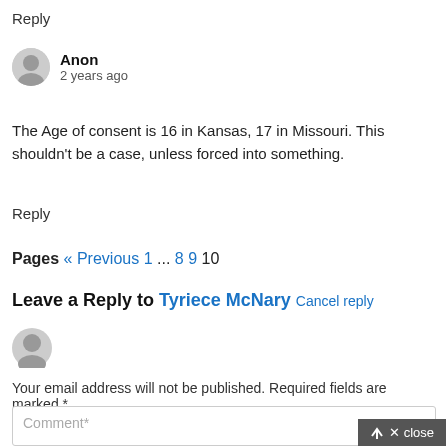Reply
Anon
2 years ago
The Age of consent is 16 in Kansas, 17 in Missouri. This shouldn't be a case, unless forced into something.
Reply
Pages « Previous 1 ... 8 9 10
Leave a Reply to Tyriece McNary Cancel reply
Your email address will not be published. Required fields are marked *
Comment*